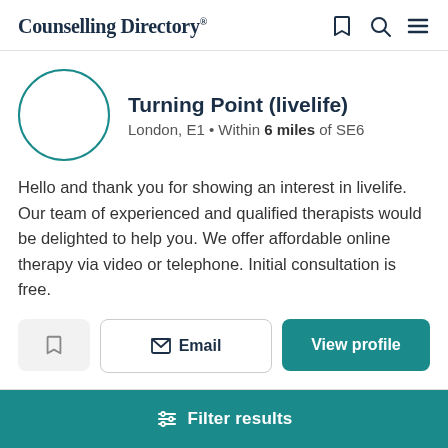Counselling Directory
Turning Point (livelife)
London, E1 • Within 6 miles of SE6
Hello and thank you for showing an interest in livelife. Our team of experienced and qualified therapists would be delighted to help you. We offer affordable online therapy via video or telephone. Initial consultation is free.
Email
View profile
Filter results